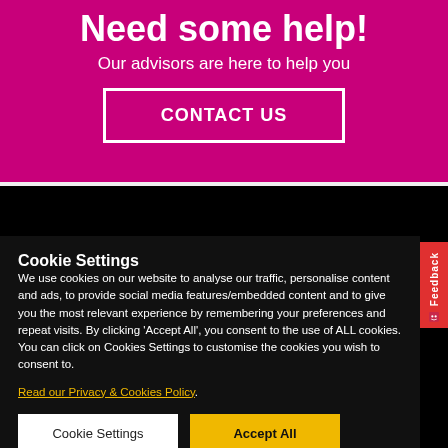Need some help!
Our advisors are here to help you
CONTACT US
CONTACT US
Cookie Settings
We use cookies on our website to analyse our traffic, personalise content and ads, to provide social media features/embedded content and to give you the most relevant experience by remembering your preferences and repeat visits. By clicking 'Accept All', you consent to the use of ALL cookies. You can click on Cookies Settings to customise the cookies you wish to consent to.
Read our Privacy & Cookies Policy.
Cookie Settings
Accept All